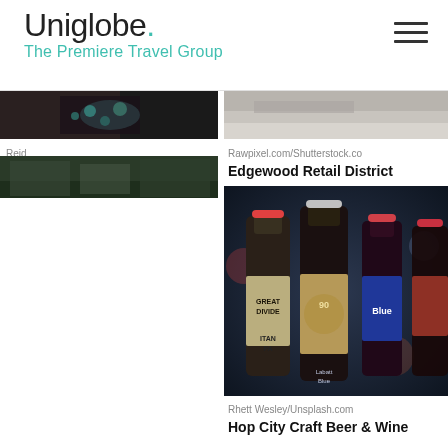[Figure (logo): Uniglobe logo with teal dot and tagline 'The Premiere Travel Group']
[Figure (photo): Partial image at top of left column - dark background with jewelry/decorative items]
Reid Dalland/Shutterstock.com
YOUNG BLOOD
[Figure (photo): Partial image at top of right column - light gray concrete or stone surface]
Rawpixel.com/Shutterstock.com
Edgewood Retail District
[Figure (photo): Beer bottles including Great Divide, Labatt Blue, and others in a dark setting]
Rhett Wesley/Unsplash.com
Hop City Craft Beer & Wine
[Figure (photo): Partial green/nature image at bottom left]